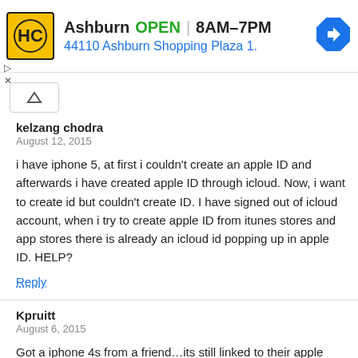[Figure (other): Advertisement banner for HC business in Ashburn. Shows logo, business name, OPEN status, hours 8AM-7PM, address 44110 Ashburn Shopping Plaza 1., and navigation arrow icon.]
kelzang chodra
August 12, 2015

i have iphone 5, at first i couldn't create an apple ID and afterwards i have created apple ID through icloud. Now, i want to create id but couldn't create ID. I have signed out of icloud account, when i try to create apple ID from itunes stores and app stores there is already an icloud id popping up in apple ID. HELP?

Reply
Kpruitt
August 6, 2015

Got a iphone 4s from a friend…its still linked to their apple id…they passed away before I could get their info to unlock the link…HELP

Reply